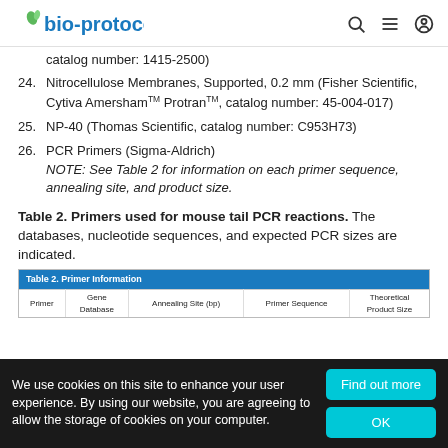bio-protocol
catalog number: 1415-2500)
24. Nitrocellulose Membranes, Supported, 0.2 mm (Fisher Scientific, Cytiva Amersham™ Protran™, catalog number: 45-004-017)
25. NP-40 (Thomas Scientific, catalog number: C953H73)
26. PCR Primers (Sigma-Aldrich)
NOTE: See Table 2 for information on each primer sequence, annealing site, and product size.
Table 2. Primers used for mouse tail PCR reactions. The databases, nucleotide sequences, and expected PCR sizes are indicated.
| Primer | Gene Database | Annealing Site (bp) | Primer Sequence | Theoretical Product Size |
| --- | --- | --- | --- | --- |
We use cookies on this site to enhance your user experience. By using our website, you are agreeing to allow the storage of cookies on your computer.